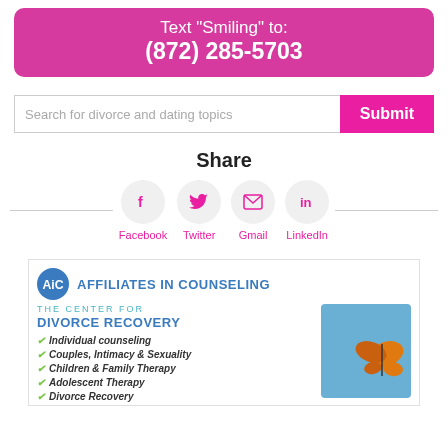Text "Smiling" to:
(872) 285-5703
Search for divorce and dating topics
Share
[Figure (infographic): Social sharing icons: Facebook, Twitter, Gmail, LinkedIn with pink labels and circular grey backgrounds, flanked by horizontal lines]
[Figure (infographic): AiC - Affiliates in Counseling advertisement. The Center for Divorce Recovery. Checklist: Individual counseling, Couples Intimacy & Sexuality, Children & Family Therapy, Adolescent Therapy, Divorce Recovery. Butterfly image on right.]